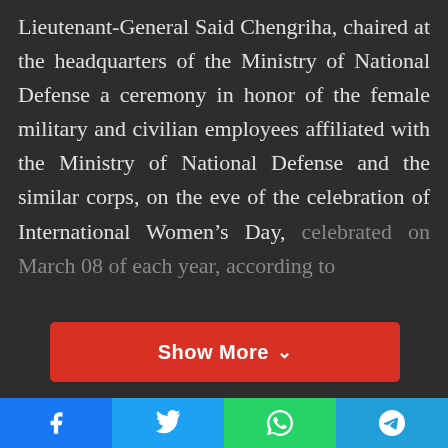Lieutenant-General Said Chengriha, chaired at the headquarters of the Ministry of National Defense a ceremony in honor of the female military and civilian employees affiliated with the Ministry of National Defense and the similar corps, on the eve of the celebration of International Women's Day, celebrated on March 08 of each year, according to
Show More